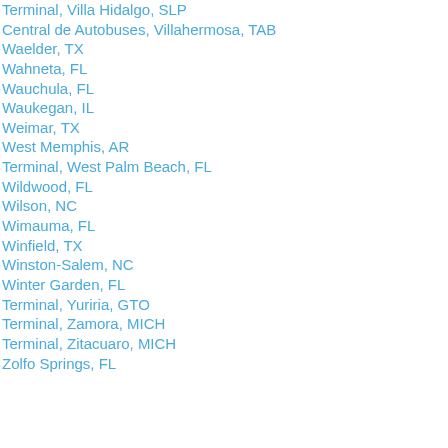Terminal, Villa Hidalgo, SLP
Central de Autobuses, Villahermosa, TAB
Waelder, TX
Wahneta, FL
Wauchula, FL
Waukegan, IL
Weimar, TX
West Memphis, AR
Terminal, West Palm Beach, FL
Wildwood, FL
Wilson, NC
Wimauma, FL
Winfield, TX
Winston-Salem, NC
Winter Garden, FL
Terminal, Yuriria, GTO
Terminal, Zamora, MICH
Terminal, Zitacuaro, MICH
Zolfo Springs, FL